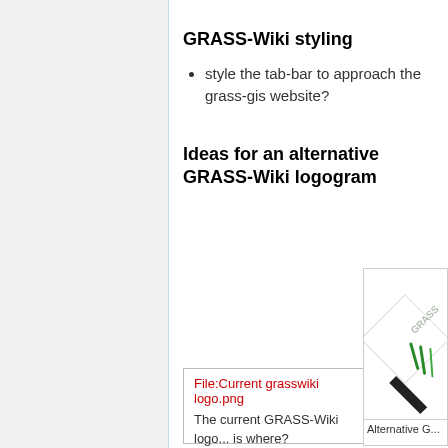GRASS-Wiki styling
style the tab-bar to approach the grass-gis website?
Ideas for an alternative GRASS-Wiki logogram
[Figure (other): Missing file placeholder: File:Current grasswiki logo.png with caption 'The current GRASS-Wiki logo... is where?']
[Figure (logo): Alternative GRASS-Wiki logogram image showing a diamond-shaped logo with GRASS text and green grass blades]
Alternative G...